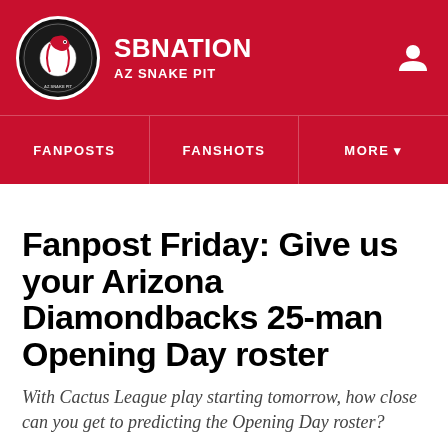SBNATION / AZ SNAKE PIT
[Figure (logo): SB Nation circular logo with snake/baseball graphic on black background, white border]
Fanpost Friday: Give us your Arizona Diamondbacks 25-man Opening Day roster
With Cactus League play starting tomorrow, how close can you get to predicting the Opening Day roster?
By Jim McLennan | @AZSnakepit | Feb 24, 2017, 2:00pm EST